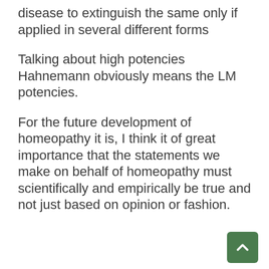disease to extinguish the same only if applied in several different forms
Talking about high potencies Hahnemann obviously means the LM potencies.
For the future development of homeopathy it is, I think it of great importance that the statements we make on behalf of homeopathy must scientifically and empirically be true and not just based on opinion or fashion.